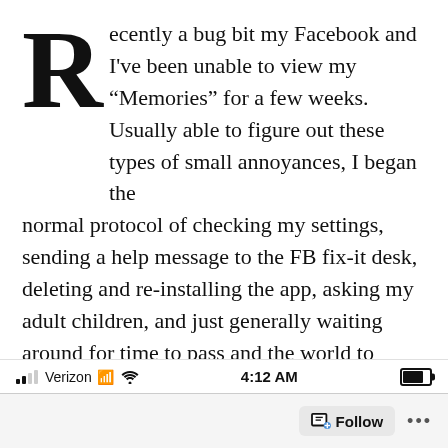Recently a bug bit my Facebook and I've been unable to view my “Memories” for a few weeks. Usually able to figure out these types of small annoyances, I began the normal protocol of checking my settings, sending a help message to the FB fix-it desk, deleting and re-installing the app, asking my adult children, and just generally waiting around for time to pass and the world to shake itself loose and all to become right again.
It didn’t. It has not. I am still being deprived of my memories. And I am still annoyed.
Verizon  4:12 AM